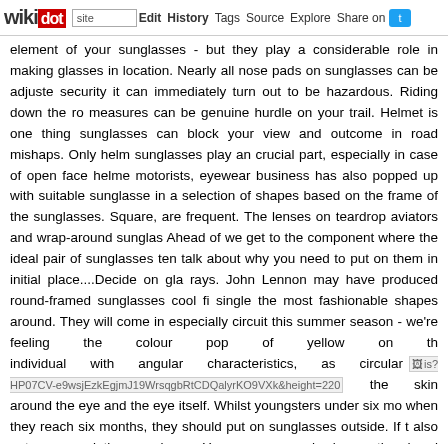wikidot | site | Edit | History | Tags | Source | Explore | Share on [Twitter]
element of your sunglasses - but they play a considerable role in making glasses in location. Nearly all nose pads on sunglasses can be adjusted security it can immediately turn out to be hazardous. Riding down the ro measures can be genuine hurdle on your trail. Helmet is one thing sunglasses can block your view and outcome in road mishaps. Only helm sunglasses play an crucial part, especially in case of open face helme motorists, eyewear business has also popped up with suitable sunglasse in a selection of shapes based on the frame of the sunglasses. Square, are frequent. The lenses on teardrop aviators and wrap-around sunglas Ahead of we get to the component where the ideal pair of sunglasses ten talk about why you need to put on them in initial place....Decide on gla rays. John Lennon may have produced round-framed sunglasses cool fi single the most fashionable shapes around. They will come in especially circuit this summer season - we're feeling the colour pop of yellow on th individual with angular characteristics, as circular [image: is?HP07CV-e9wsjEzkEgjmJ19WrsqgbRtCDQalyrKO9VXk&height=220] the skin around the eye and the eye itself. Whilst youngsters under six mo when they reach six months, they should put on sunglasses outside. If t also put on prescription sunglasses.You are a man who knows there's ad good on what faces. Sunglasses are notoriously challenging to get appro guide to help you navigate the minefield of stylishly functional goggles. Times's Simone Oliver and Stephanie Rosenbloom get refreshing tips fo feel like a dapper chap in your darker shades. But darker lenses do not click the following post couple weren't the only ones in the Royal Loved also spotted wearing sunglasses as she left Windsor the day soon after th tan? If you're squinting in the sun or acquiring a sore head from the po likely not to commit any time in the sun. Enhanced Security - Polarized several climate conditions. - Comments: 0